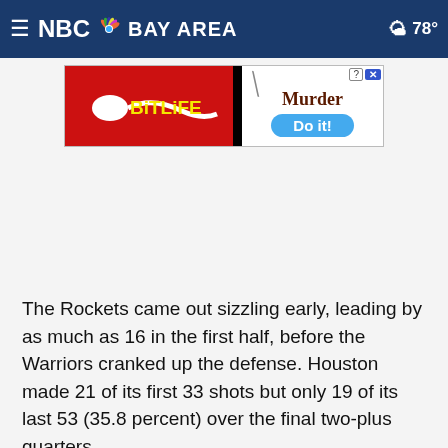NBC Bay Area — 78°
[Figure (screenshot): BitLife advertisement banner: red background with BitLife logo on left, black divider bar, and on the right side text 'Murder' in dark red and a blue button reading 'Do it!' with close buttons top right]
The Rockets came out sizzling early, leading by as much as 16 in the first half, before the Warriors cranked up the defense. Houston made 21 of its first 33 shots but only 19 of its last 53 (35.8 percent) over the final two-plus quarters.